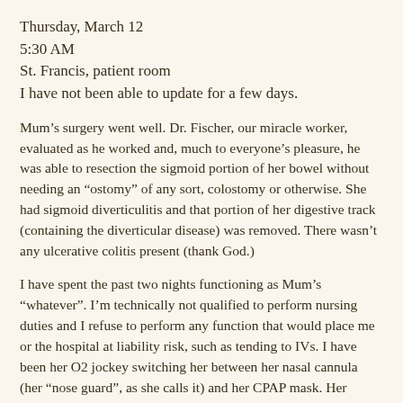Thursday, March 12
5:30 AM
St. Francis, patient room
I have not been able to update for a few days.
Mum’s surgery went well. Dr. Fischer, our miracle worker, evaluated as he worked and, much to everyone’s pleasure, he was able to resection the sigmoid portion of her bowel without needing an “ostomy” of any sort, colostomy or otherwise. She had sigmoid diverticulitis and that portion of her digestive track (containing the diverticular disease) was removed. There wasn’t any ulcerative colitis present (thank God.)
I have spent the past two nights functioning as Mum’s “whatever”. I’m technically not qualified to perform nursing duties and I refuse to perform any function that would place me or the hospital at liability risk, such as tending to IVs. I have been her O2 jockey switching her between her nasal cannula (her “nose guard”, as she calls it) and her CPAP mask. Her respiratory therapists are all outstanding; we enjoy visiting with the gentleman resembling Henry Winkler. I’ve been the verification buffer between Mum’s new med administration and her allergy list. I’ve relayed her pain